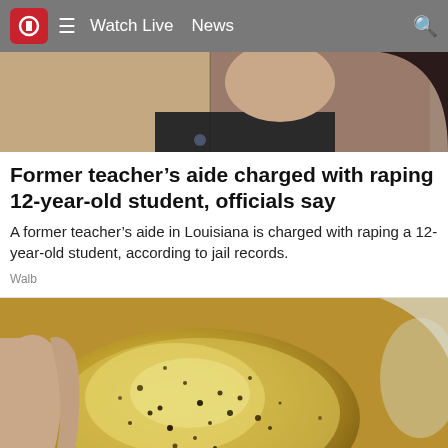10  ≡  Watch Live  News
[Figure (photo): Cropped photo of a person, showing neck and lower face area with dark hair]
Former teacher's aide charged with raping 12-year-old student, officials say
A former teacher's aide in Louisiana is charged with raping a 12-year-old student, according to jail records.
Walb
[Figure (photo): Close-up photo of a hand holding a yellowish-green crystalline substance with dark speckles]
[Figure (photo): Partial view of another photo below, with a white popup/ad overlay and a close (X) button]